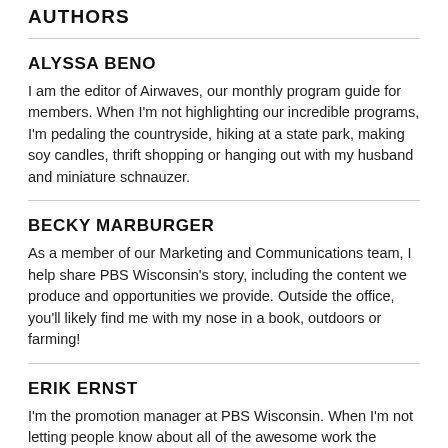AUTHORS
ALYSSA BENO
I am the editor of Airwaves, our monthly program guide for members. When I'm not highlighting our incredible programs, I'm pedaling the countryside, hiking at a state park, making soy candles, thrift shopping or hanging out with my husband and miniature schnauzer.
BECKY MARBURGER
As a member of our Marketing and Communications team, I help share PBS Wisconsin's story, including the content we produce and opportunities we provide. Outside the office, you'll likely find me with my nose in a book, outdoors or farming!
ERIK ERNST
I'm the promotion manager at PBS Wisconsin. When I'm not letting people know about all of the awesome work the station is doing around the state, you'll find me planning my family's next trip to somewhere fun, warm and likely connected to a Disney Park.